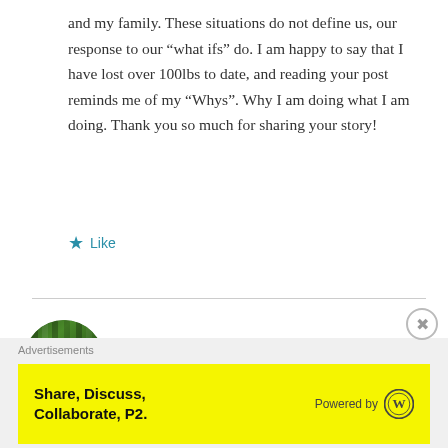and my family. These situations do not define us, our response to our “what ifs” do. I am happy to say that I have lost over 100lbs to date, and reading your post reminds me of my “Whys”. Why I am doing what I am doing. Thank you so much for sharing your story!
★ Like
lifeofawillow
Advertisements
Share, Discuss, Collaborate, P2.
Powered by